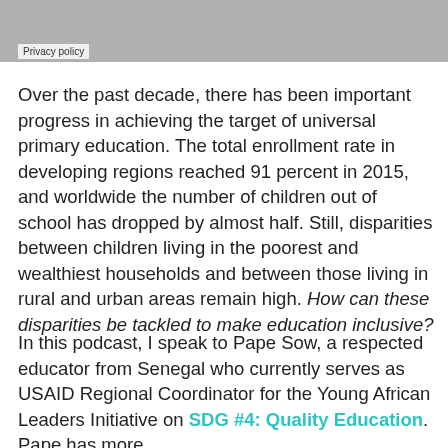Privacy policy
Over the past decade, there has been important progress in achieving the target of universal primary education. The total enrollment rate in developing regions reached 91 percent in 2015, and worldwide the number of children out of school has dropped by almost half. Still, disparities between children living in the poorest and wealthiest households and between those living in rural and urban areas remain high. How can these disparities be tackled to make education inclusive?
In this podcast, I speak to Pape Sow, a respected educator from Senegal who currently serves as USAID Regional Coordinator for the Young African Leaders Initiative on SDG #4: Quality Education. Pape has more